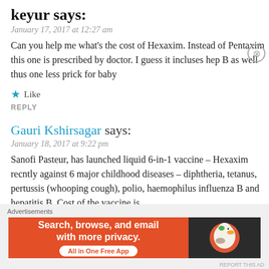keyur says:
January 17, 2017 at 12:27 am
Can you help me what's the cost of Hexaxim. Instead of Pentaxim this one is prescribed by doctor. I guess it incluses hep B as well thus one less prick for baby
Like
REPLY
Gauri Kshirsagar says:
January 18, 2017 at 9:22 pm
Sanofi Pasteur, has launched liquid 6-in-1 vaccine – Hexaxim recntly against 6 major childhood diseases – diphtheria, tetanus, pertussis (whooping cough), polio, haemophilus influenza B and hepatitis B. Cost of the vaccine is
Advertisements
[Figure (infographic): DuckDuckGo advertisement banner: 'Search, browse, and email with more privacy. All in One Free App' with DuckDuckGo logo on dark right panel]